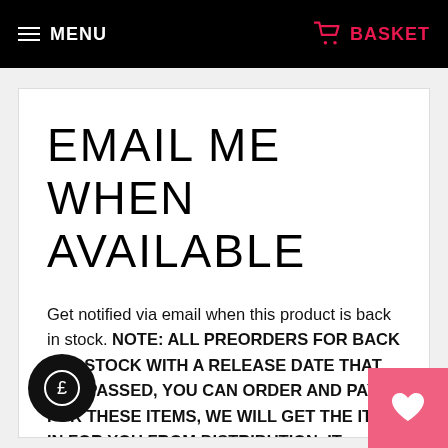MENU  BASKET
EMAIL ME WHEN AVAILABLE
Get notified via email when this product is back in stock. NOTE: ALL PREORDERS FOR BACK CAT STOCK WITH A RELEASE DATE THAT HAS PASSED, YOU CAN ORDER AND PAY FOR THESE ITEMS, WE WILL GET THE ITEM IN FOR YOU FROM DISTRIBUTION. IT TAKES DAYS FOR US TO GET YOUR STOCK. WE WILL THEN DISPATCH YOUR ORDER ONCE HERE.